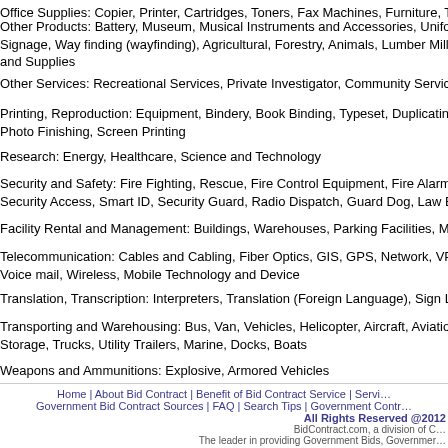Office Supplies: Copier, Printer, Cartridges, Toners, Fax Machines, Furniture, Toiletries
Other Products: Battery, Museum, Musical Instruments and Accessories, Uniform, Signage, Way finding (wayfinding), Agricultural, Forestry, Animals, Lumber Mills, House and Supplies
Other Services: Recreational Services, Private Investigator, Community Services, Po
Printing, Reproduction: Equipment, Bindery, Book Binding, Typeset, Duplicating, Photo Finishing, Screen Printing
Research: Energy, Healthcare, Science and Technology
Security and Safety: Fire Fighting, Rescue, Fire Control Equipment, Fire Alarms, Security Access, Smart ID, Security Guard, Radio Dispatch, Guard Dog, Law Enforcement
Facility Rental and Management: Buildings, Warehouses, Parking Facilities, Meeting
Telecommunication: Cables and Cabling, Fiber Optics, GIS, GPS, Network, VPN, Voice mail, Wireless, Mobile Technology and Device
Translation, Transcription: Interpreters, Translation (Foreign Language), Sign Language
Transporting and Warehousing: Bus, Van, Vehicles, Helicopter, Aircraft, Aviation, Storage, Trucks, Utility Trailers, Marine, Docks, Boats
Weapons and Ammunitions: Explosive, Armored Vehicles
Home | About Bid Contract | Benefit of Bid Contract Service | Government Bid Contract Sources | FAQ | Search Tips | Government Cont… All Rights Reserved @2012 BidContract.com, a division of … The leader in providing Government Bids, Government …